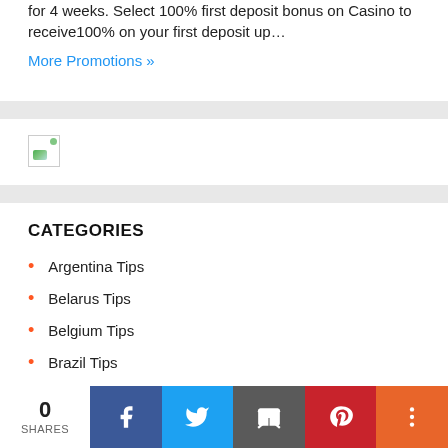for 4 weeks. Select 100% first deposit bonus on Casino to receive100% on your first deposit up…
More Promotions »
[Figure (photo): Broken image placeholder with small landscape thumbnail icon]
CATEGORIES
Argentina Tips
Belarus Tips
Belgium Tips
Brazil Tips
0 SHARES | Facebook | Twitter | Email | Pinterest | More